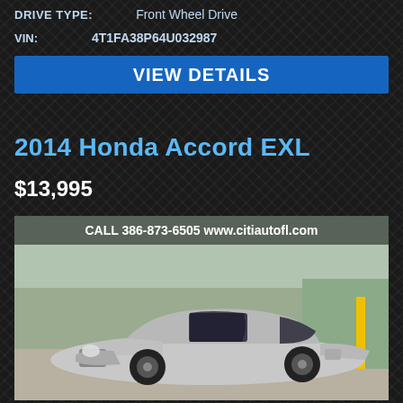DRIVE TYPE: Front Wheel Drive
VIN: 4T1FA38P64U032987
VIEW DETAILS
2014 Honda Accord EXL
$13,995
[Figure (photo): Silver 2014 Honda Accord EXL sedan parked in a lot, front three-quarter view. Banner reads: CALL 386-873-6505 www.citiautofl.com]
CALL 386-873-6505 www.citiautofl.com